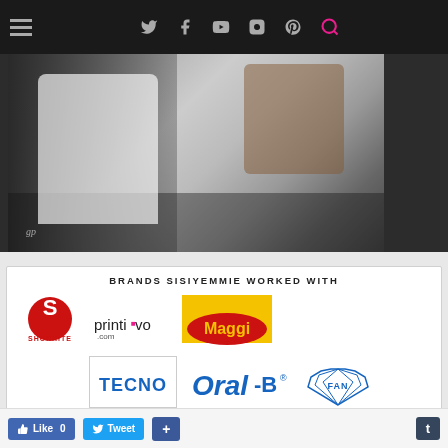Social media navigation bar with hamburger menu and icons: Twitter, Facebook, YouTube, Instagram, Pinterest, Search
[Figure (photo): Photo of two people, one in white shirt, the other in patterned clothing, with a watermark logo in the lower left corner]
BRANDS SISIYEMMIE WORKED WITH
[Figure (logo): Brand logos grid: Shoprite, Printivo.com, Maggi, TECNO, Oral-B, FAN, Maybellin(e)]
Like 0   Tweet   +   t